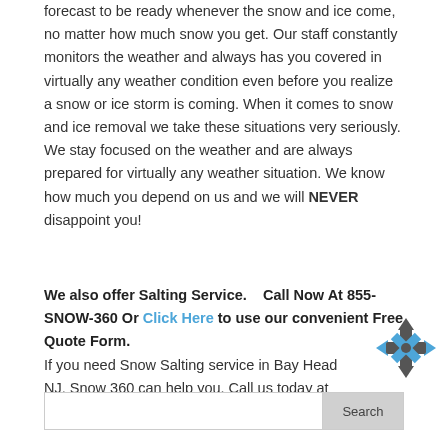forecast to be ready whenever the snow and ice come, no matter how much snow you get. Our staff constantly monitors the weather and always has you covered in virtually any weather condition even before you realize a snow or ice storm is coming. When it comes to snow and ice removal we take these situations very seriously. We stay focused on the weather and are always prepared for virtually any weather situation. We know how much you depend on us and we will NEVER disappoint you!
We also offer Salting Service.   Call Now At 855-SNOW-360 Or Click Here to use our convenient Free Quote Form.
[Figure (infographic): A grey and blue compass/cross directional icon with arrows pointing outward.]
If you need Snow Salting service in Bay Head NJ, Snow 360 can help you. Call us today at 855-SNOW-360 for more information.